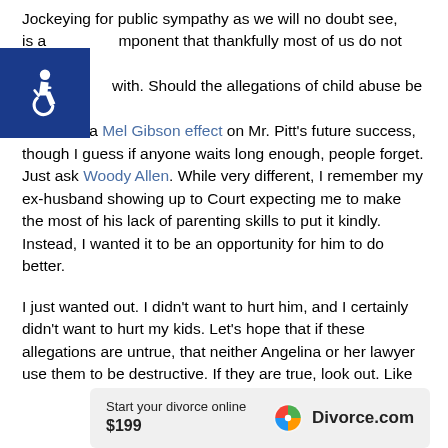Jockeying for public sympathy as we will no doubt see, is a component that thankfully most of us do not have to deal with. Should the allegations of child abuse be true, it can have a Mel Gibson effect on Mr. Pitt's future success, though I guess if anyone waits long enough, people forget. Just ask Woody Allen. While very different, I remember my ex-husband showing up to Court expecting me to make the most of his lack of parenting skills to put it kindly. Instead, I wanted it to be an opportunity for him to do better.
I just wanted out. I didn't want to hurt him, and I certainly didn't want to hurt my kids. Let's hope that if these allegations are untrue, that neither Angelina or her lawyer use them to be destructive. If they are true, look out. Like
[Figure (other): Advertisement banner: Start your divorce online $199 — Divorce.com logo with colorful pinwheel icon]